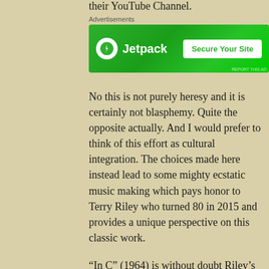their YouTube Channel.
[Figure (other): Jetpack advertisement banner with green background showing Jetpack logo and 'Secure Your Site' button]
No this is not purely heresy and it is certainly not blasphemy.  Quite the opposite actually.  And I would prefer to think of this effort as cultural integration.  The choices made here instead lead to some mighty ecstatic music making which pays honor to Terry Riley who turned 80 in 2015 and provides a unique perspective on this classic work.
“In C” (1964) is without doubt Riley’s best known work by far and the one which pretty much defined what would later become known for better or worse as “minimalism”.  It